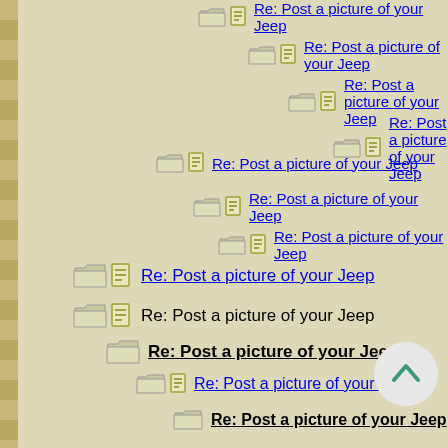Re: Post a picture of your Jeep
Re: Post a picture of your Jeep
Re: Post a picture of your Jeep
Re: Post a picture of your Jeep
Re: Post a picture of your Jeep
Re: Post a picture of your Jeep
Re: Post a picture of your Jeep
Re: Post a picture of your Jeep
Re: Post a picture of your Jeep
Re: Post a picture of your Jeep
Re: Post a picture of your Jeep
Re: Post a picture of your Jeep
Re: Post a picture of your Jeep
Re: Post a picture of your Jeep
Re: Post a picture of your Jeep
Re: Post a picture of your Jeep
Re: Post a picture of your Jeep